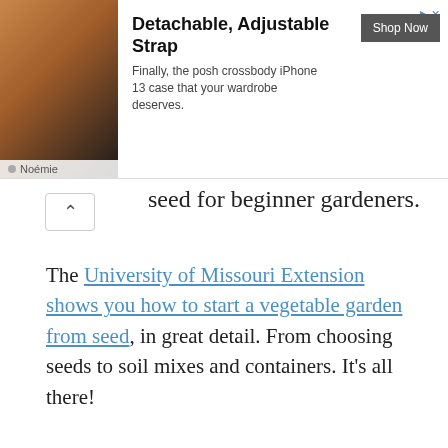[Figure (photo): Advertisement banner showing a woman with a crossbody iPhone 13 case. Brand: Noémie. Title: Detachable, Adjustable Strap. Description: Finally, the posh crossbody iPhone 13 case that your wardrobe deserves. Button: Shop Now.]
seed for beginner gardeners.
The University of Missouri Extension shows you how to start a vegetable garden from seed, in great detail. From choosing seeds to soil mixes and containers. It's all there!
Filed Under: Vegetable Gardening
Tagged With: planting, seed, seedlings, seeds
HOW TO THIN SEEDLING PLANTS
May 2, 2009 by Vegetable7 — Leave a Comment